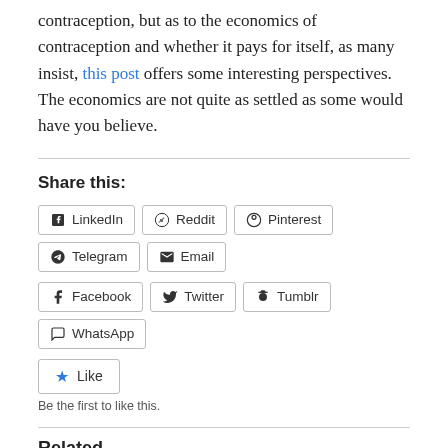contraception, but as to the economics of contraception and whether it pays for itself, as many insist, this post offers some interesting perspectives. The economics are not quite as settled as some would have you believe.
Share this:
LinkedIn Reddit Pinterest Telegram Email Facebook Twitter Tumblr WhatsApp
Like
Be the first to like this.
Related
Coerced Fairness: Wronging Every Right
April 14, 2016
In "Discrimination"